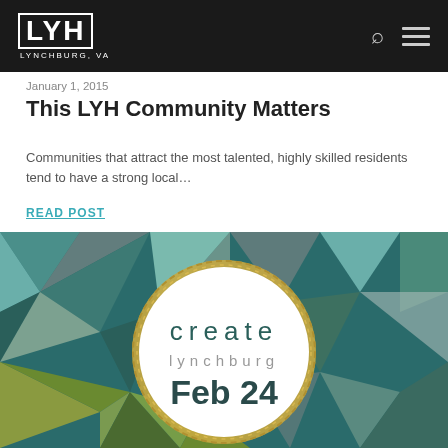LYH LYNCHBURG, VA
January 1, 2015
This LYH Community Matters
Communities that attract the most talented, highly skilled residents tend to have a strong local…
READ POST
[Figure (illustration): Create Lynchburg Feb 24 event graphic with geometric polygon background in teal, olive, and gray tones, featuring a circular white badge with gold rope border reading 'create lynchburg Feb 24']